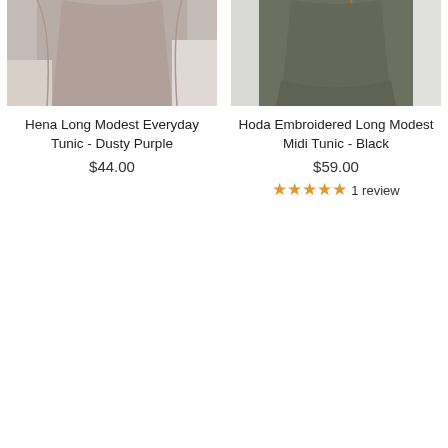[Figure (photo): Photo of Hena Long Modest Everyday Tunic in Dusty Purple color, showing back/side view of garment on model, cropped at top]
Hena Long Modest Everyday Tunic - Dusty Purple
$44.00
[Figure (photo): Photo of Hoda Embroidered Long Modest Midi Tunic in Black color, showing back view of garment on model, with embroidered detail visible, cropped at top]
Hoda Embroidered Long Modest Midi Tunic - Black
$59.00
★★★★★ 1 review